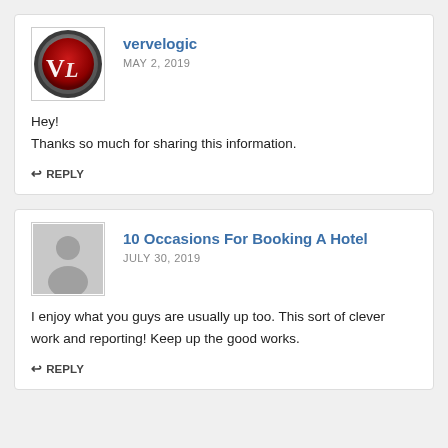vervelogic
MAY 2, 2019
Hey!
Thanks so much for sharing this information.
REPLY
10 Occasions For Booking A Hotel
JULY 30, 2019
I enjoy what you guys are usually up too. This sort of clever work and reporting! Keep up the good works.
REPLY